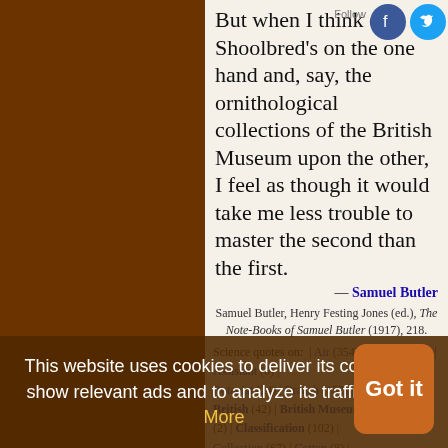But when I think of Shoolbred's on the one hand and, say, the ornithological collections of the British Museum upon the other, I feel as though it would take me less trouble to master the second than the first.
— Samuel Butler
Samuel Butler, Henry Festing Jones (ed.), The Note-Books of Samuel Butler (1917), 218.
Science quotes on: | Air (354) | Animal (634) | Assistant (6) | Botanist (24) | Branch (152) | British (42) | British Museum (2) | Classification (102) | Collection (67) | Cotton (8) | Detail (107) | Divide (76) | Do (1905) | Familiarity (19) | Family (96) | Feel (365) | First (1982) | Genus (26) | Geologist (80) | Great (1579) | Habit (172) | Habitat (17) | Himself ...
This website uses cookies to deliver its content, to show relevant ads and to analyze its traffic. Learn More